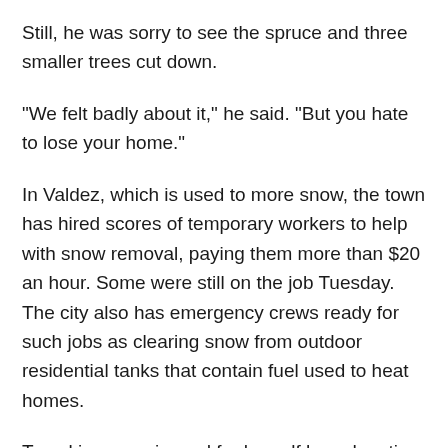Still, he was sorry to see the spruce and three smaller trees cut down.
"We felt badly about it," he said. "But you hate to lose your home."
In Valdez, which is used to more snow, the town has hired scores of temporary workers to help with snow removal, paying them more than $20 an hour. Some were still on the job Tuesday. The city also has emergency crews ready for such jobs as clearing snow from outdoor residential tanks that contain fuel used to heat homes.
Tompkins experienced for herself how daunting that